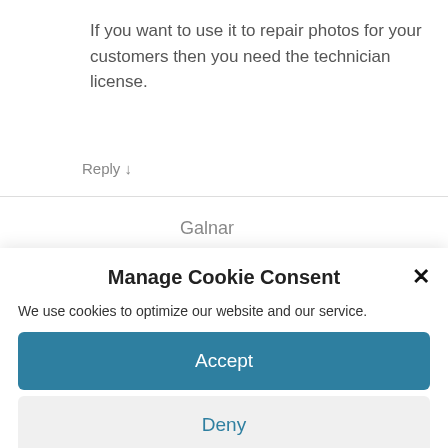If you want to use it to repair photos for your customers then you need the technician license.
Reply ↓
Galnar
Manage Cookie Consent
We use cookies to optimize our website and our service.
Accept
Deny
Preferences